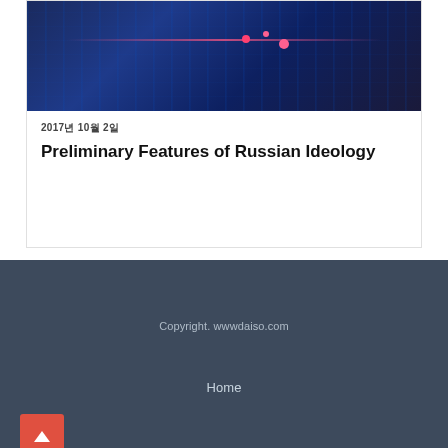[Figure (photo): Dark blue technology/network themed banner image with red line and glowing dots]
2017년 10월 2일
Preliminary Features of Russian Ideology
Copyright. wwwdaiso.com
Home